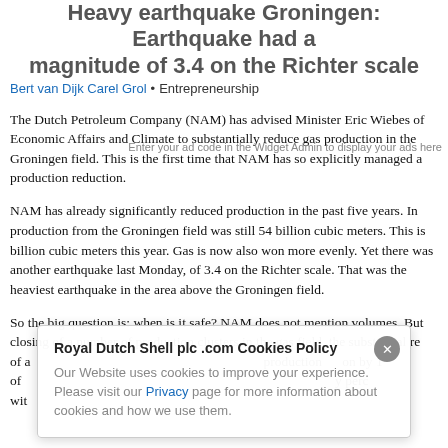Heavy earthquake Groningen: Earthquake had a magnitude of 3.4 on the Richter scale
Bert van Dijk  Carel Grol • Entrepreneurship
Enter your ad code in the Widget Admin to display your ads here
The Dutch Petroleum Company (NAM) has advised Minister Eric Wiebes of Economic Affairs and Climate to substantially reduce gas production in the Groningen field. This is the first time that NAM has so explicitly managed a production reduction.
NAM has already significantly reduced production in the past five years. In production from the Groningen field was still 54 billion cubic meters. This is billion cubic meters this year. Gas is now also won more evenly. Yet there was another earthquake last Monday, of 3.4 on the Richter scale. That was the heaviest earthquake in the area above the Groningen field.
So the big question is: when is it safe? NAM does not mention volumes. But closing of a number of production clusters in the gas field, the substantial reduction of a production reduction by 1 of y percent with
Royal Dutch Shell plc .com Cookies Policy
Our Website uses cookies to improve your experience. Please visit our Privacy page for more information about cookies and how we use them.